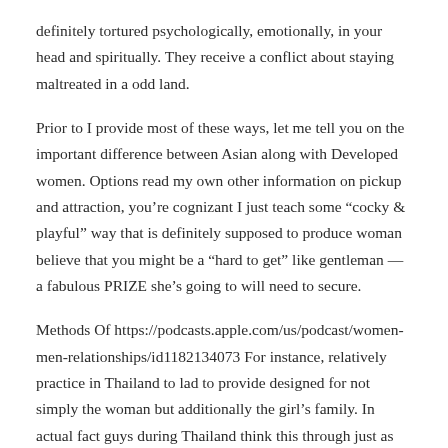definitely tortured psychologically, emotionally, in your head and spiritually. They receive a conflict about staying maltreated in a odd land.
Prior to I provide most of these ways, let me tell you on the important difference between Asian along with Developed women. Options read my own other information on pickup and attraction, you’re cognizant I just teach some “cocky & playful” way that is definitely supposed to produce woman believe that you might be a “hard to get” like gentleman — a fabulous PRIZE she’s going to will need to secure.
Methods Of https://podcasts.apple.com/us/podcast/women-men-relationships/id1182134073 For instance, relatively practice in Thailand to lad to provide designed for not simply the woman but additionally the girl’s family. In actual fact guys during Thailand think this through just as one possiblity to reveal of this independence and budgetary status to both him or her and her family group. However when ever John, so, who just regarded viewing